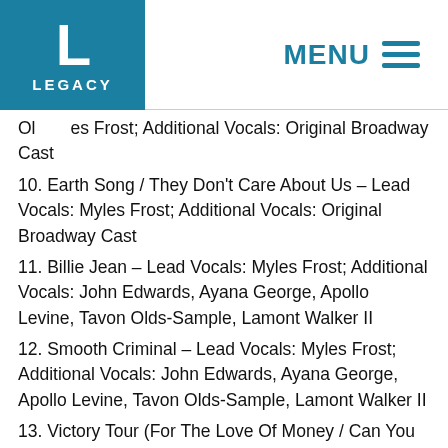[Figure (logo): Legacy Recordings logo: teal square with white L and LEGACY text]
MENU ☰
Ol… es Frost; Additional Vocals: Original Broadway Cast
10. Earth Song / They Don't Care About Us – Lead Vocals: Myles Frost; Additional Vocals: Original Broadway Cast
11. Billie Jean – Lead Vocals: Myles Frost; Additional Vocals: John Edwards, Ayana George, Apollo Levine, Tavon Olds-Sample, Lamont Walker II
12. Smooth Criminal – Lead Vocals: Myles Frost; Additional Vocals: John Edwards, Ayana George, Apollo Levine, Tavon Olds-Sample, Lamont Walker II
13. Victory Tour (For The Love Of Money / Can You Feel It) – Lead Vocals: Quentin Earl Darrington, Tavon Olds-